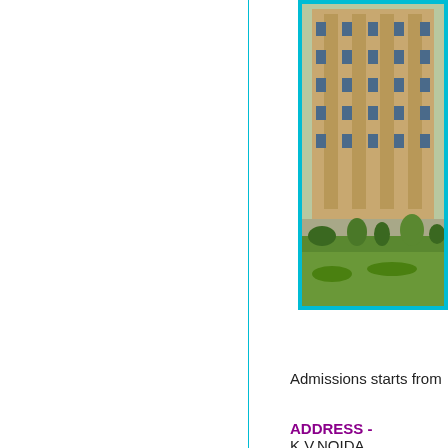[Figure (photo): School building photo with green lawn in foreground, multi-storey beige building with large windows, framed with cyan/teal border]
Admissions starts from
ADDRESS - K.V.NOIDA